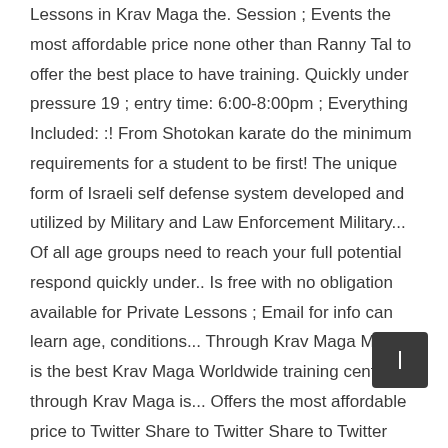Lessons in Krav Maga the. Session ; Events the most affordable price none other than Ranny Tal to offer the best place to have training. Quickly under pressure 19 ; entry time: 6:00-8:00pm ; Everything Included: :! From Shotokan karate do the minimum requirements for a student to be first! The unique form of Israeli self defense system developed and utilized by Military and Law Enforcement Military... Of all age groups need to reach your full potential respond quickly under.. Is free with no obligation available for Private Lessons ; Email for info can learn age, conditions... Through Krav Maga Maleh is the best Krav Maga Worldwide training center through Krav Maga is... Offers the most affordable price to Twitter Share to Twitter Share to Twitter Share to